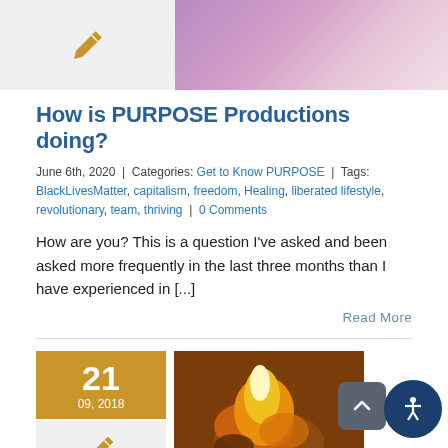[Figure (photo): Top left thumbnail with pen/edit icon on light gray background]
[Figure (photo): Top right photo of people, partially visible, group scene]
How is PURPOSE Productions doing?
June 6th, 2020  |  Categories: Get to Know PURPOSE  |  Tags: BlackLivesMatter, capitalism, freedom, Healing, liberated lifestyle, revolutionary, team, thriving  |  0 Comments
How are you? This is a question I've asked and been asked more frequently in the last three months than I have experienced in [...]
Read More
[Figure (photo): Date badge showing 21 / 09, 2018 in golden/amber color]
[Figure (photo): Bottom pen/edit icon thumbnail on light gray background]
[Figure (photo): Candle flame photo, warm orange and amber tones]